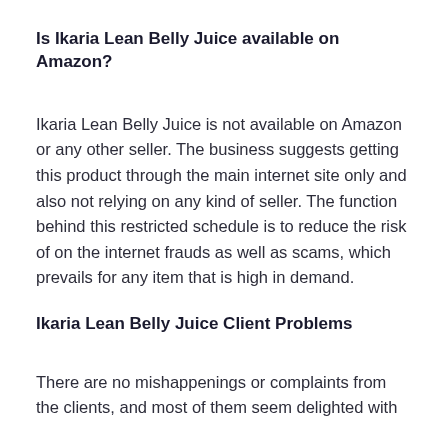Is Ikaria Lean Belly Juice available on Amazon?
Ikaria Lean Belly Juice is not available on Amazon or any other seller. The business suggests getting this product through the main internet site only and also not relying on any kind of seller. The function behind this restricted schedule is to reduce the risk of on the internet frauds as well as scams, which prevails for any item that is high in demand.
Ikaria Lean Belly Juice Client Problems
There are no mishappenings or complaints from the clients, and most of them seem delighted with